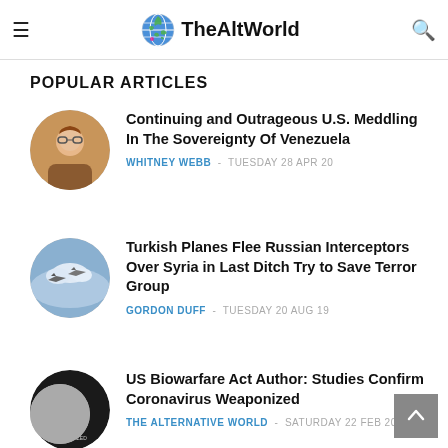TheAltWorld
POPULAR ARTICLES
Continuing and Outrageous U.S. Meddling In The Sovereignty Of Venezuela — WHITNEY WEBB - TUESDAY 28 APR 20
Turkish Planes Flee Russian Interceptors Over Syria in Last Ditch Try to Save Terror Group — GORDON DUFF - TUESDAY 20 AUG 19
US Biowarfare Act Author: Studies Confirm Coronavirus Weaponized — THE ALTERNATIVE WORLD - SATURDAY 22 FEB 20